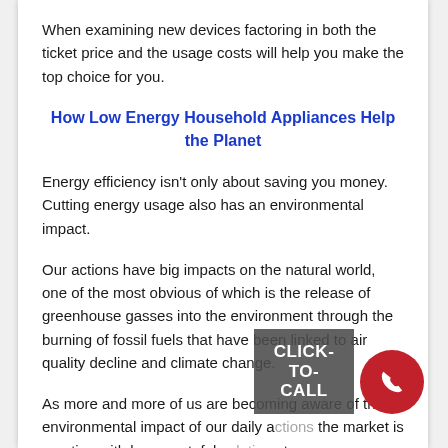When examining new devices factoring in both the ticket price and the usage costs will help you make the top choice for you.
How Low Energy Household Appliances Help the Planet
Energy efficiency isn't only about saving you money. Cutting energy usage also has an environmental impact.
Our actions have big impacts on the natural world, one of the most obvious of which is the release of greenhouse gasses into the environment through the burning of fossil fuels that have been linked to air quality decline and climate change.
As more and more of us are becoming aware of the environmental impact of our daily actions the market is reacting with less wasteful solutions to